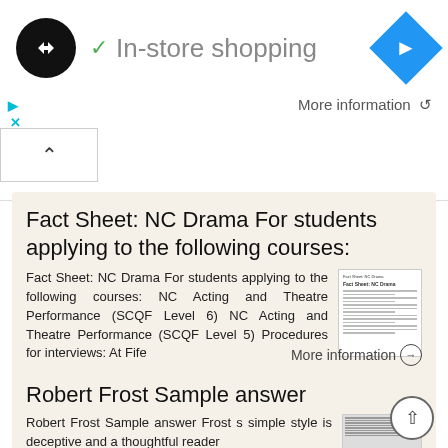[Figure (screenshot): Ad banner showing logo circle with double-arrow symbol, checkmark, 'In-store shopping' text, and blue navigation diamond]
More information
Fact Sheet: NC Drama For students applying to the following courses:
Fact Sheet: NC Drama For students applying to the following courses: NC Acting and Theatre Performance (SCQF Level 6) NC Acting and Theatre Performance (SCQF Level 5) Procedures for interviews: At Fife
More information
Robert Frost Sample answer
Robert Frost Sample answer Frost s simple style is deceptive and a thoughtful reader